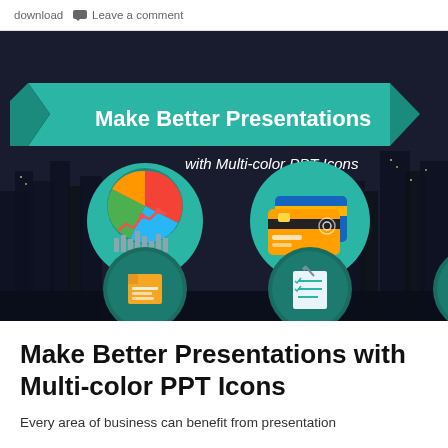download  Leave a comment
[Figure (illustration): Promotional banner for 'Make Better Presentations with Multi-color PPT Icons' showing a dark city skyline background with teal ribbon banner containing the title text, and six colorful flat design icons: a pie/bar chart combo, a credit card payment icon, a map/grid icon, a document icon, a checklist icon, and a globe with dollar sign icon.]
Make Better Presentations with Multi-color PPT Icons
Every area of business can benefit from presentation